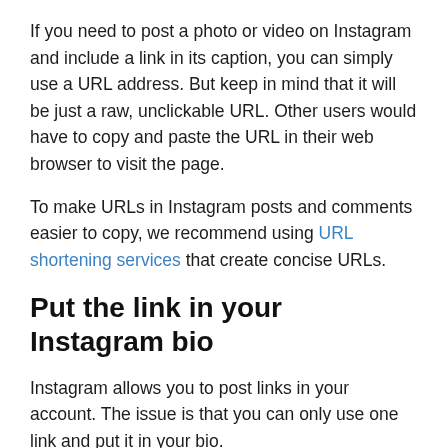If you need to post a photo or video on Instagram and include a link in its caption, you can simply use a URL address. But keep in mind that it will be just a raw, unclickable URL. Other users would have to copy and paste the URL in their web browser to visit the page.
To make URLs in Instagram posts and comments easier to copy, we recommend using URL shortening services that create concise URLs.
Put the link in your Instagram bio
Instagram allows you to post links in your account. The issue is that you can only use one link and put it in your bio.